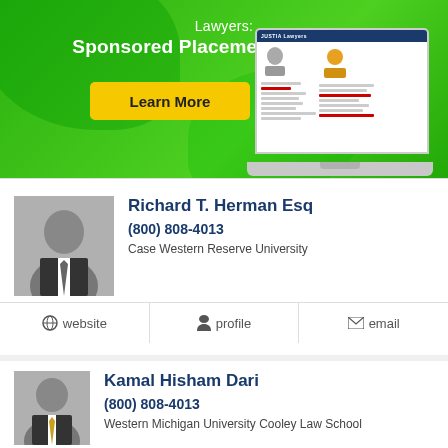[Figure (infographic): Green banner advertisement for Justia Lawyers sponsored placements, with Learn More button and laptop illustration showing lawyer profiles]
Richard T. Herman Esq
(800) 808-4013
Case Western Reserve University
website  |  profile  |  email
Kamal Hisham Dari
(800) 808-4013
Western Michigan University Cooley Law School